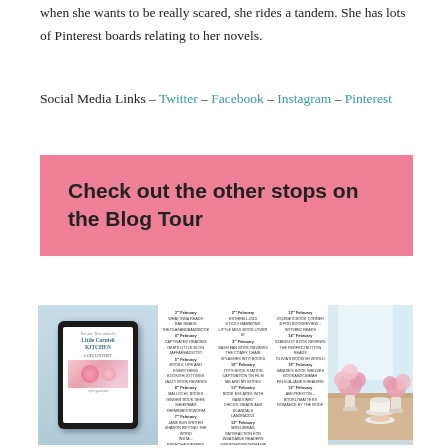when she wants to be really scared, she rides a tandem. She has lots of Pinterest boards relating to her novels.
Social Media Links – Twitter – Facebook – Instagram – Pinterest
[Figure (infographic): Pink banner box with bold text reading 'Check out the other stops on the Blog Tour']
[Figure (infographic): Blog tour schedule graphic showing a tablet with book cover 'Tea for Two and the Little Cornish Kitchen' by Jane Linfoot, surrounded by blog tour stop dates and site names in three columns, with a floral table scene on the right]